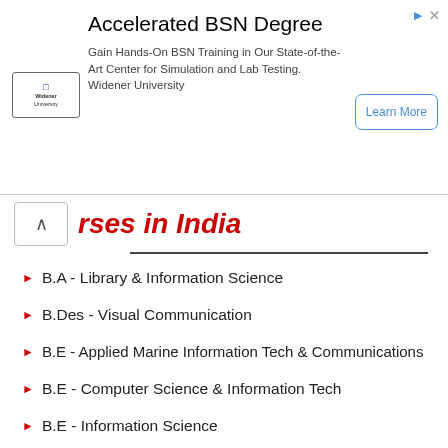[Figure (screenshot): Advertisement banner for Widener University Accelerated BSN Degree program with logo, body text, and Learn More button]
rses in India
B.A - Library & Information Science
B.Des - Visual Communication
B.E - Applied Marine Information Tech & Communications
B.E - Computer Science & Information Tech
B.E - Information Science
B.E - Information Science & Engineering
B.E - Information Technology
B.I.S.M - Bachelor of Information Systems Management
B.S - Information Systems
B.Sc - Information Science
B.Sc - Information System Management